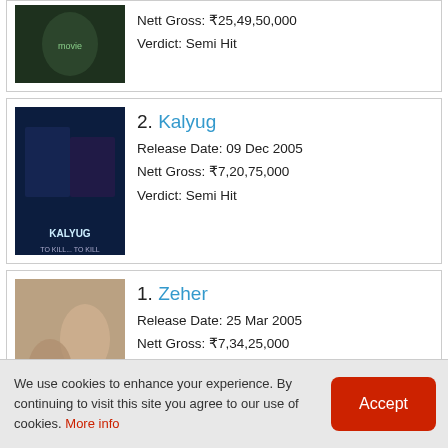Nett Gross: ₹25,49,50,000
Verdict: Semi Hit
2. Kalyug
Release Date: 09 Dec 2005
Nett Gross: ₹7,20,75,000
Verdict: Semi Hit
1. Zeher
Release Date: 25 Mar 2005
Nett Gross: ₹7,34,25,000
Verdict: Average
We use cookies to enhance your experience. By continuing to visit this site you agree to our use of cookies. More info